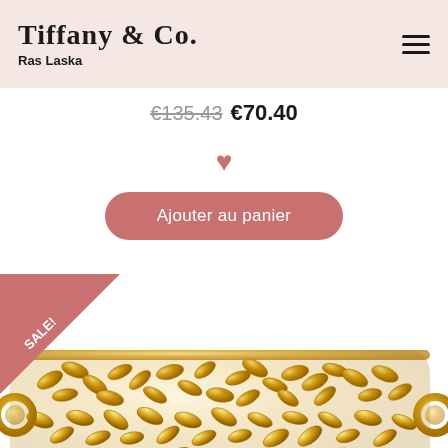TIFFANY & CO. Ras Laska
€135.43 €70.40
[Figure (illustration): Pink heart icon (wishlist button)]
Ajouter au panier
[Figure (photo): Gold leaf-pattern cuff bracelet with SALE! corner badge in pink]